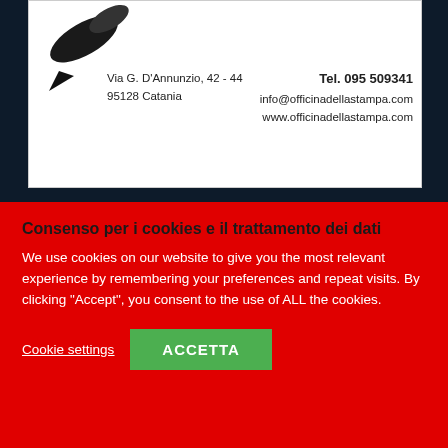[Figure (illustration): Dark pen/marker shape on white card background with company contact information]
Via G. D'Annunzio, 42 - 44
95128 Catania
Tel. 095 509341
info@officinadellastampa.com
www.officinadellastampa.com
SELEZIONA ARTICOLI DA CALENDARIO
|   |   |   |   |   |   |   |
Consenso per i cookies e il trattamento dei dati
We use cookies on our website to give you the most relevant experience by remembering your preferences and repeat visits. By clicking “Accept”, you consent to the use of ALL the cookies.
Cookie settings  ACCETTA